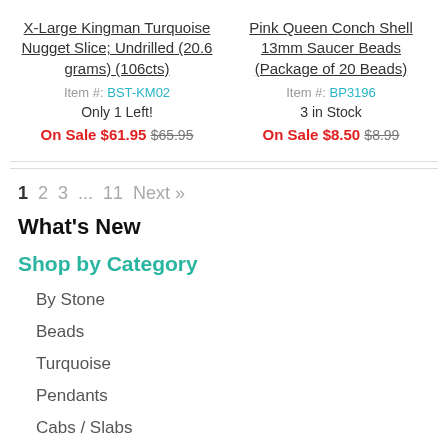X-Large Kingman Turquoise Nugget Slice; Undrilled (20.6 grams) (106cts)
Item #: BST-KM02
Only 1 Left!
On Sale $61.95 $65.95
Pink Queen Conch Shell 13mm Saucer Beads (Package of 20 Beads)
Item #: BP3196
3 in Stock
On Sale $8.50 $8.99
1  2  3  ...  11  Next »
What's New
Shop by Category
By Stone
Beads
Turquoise
Pendants
Cabs / Slabs